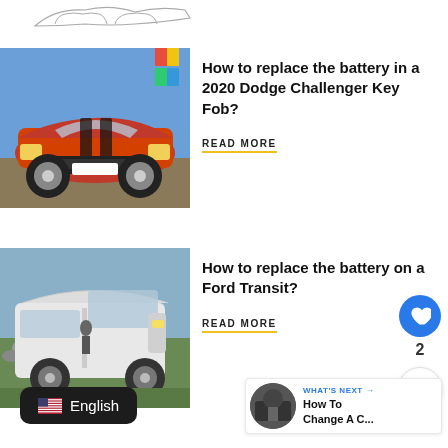[Figure (illustration): Partial view of a line drawing/sketch of a car, cropped at top]
[Figure (photo): Orange Dodge Challenger muscle car with black stripes, front view, parked outdoors]
How to replace the battery in a 2020 Dodge Challenger Key Fob?
READ MORE
[Figure (photo): White Ford Transit van parked on a rocky outdoor terrain with green grass]
How to replace the battery on a Ford Transit?
READ MORE
2
WHAT'S NEXT → How To Change A C...
English